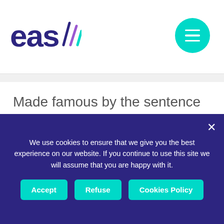eas (logo with signal lines) | menu button
Made famous by the sentence “Let them eat Brioche” that Marie-Antoinette is rumored to have said, French brioche can be used as bread. At breakfast, French people often trade their usual bread for
We use cookies to ensure that we give you the best experience on our website. If you continue to use this site we will assume that you are happy with it. [Accept] [Refuse] [Cookies Policy]